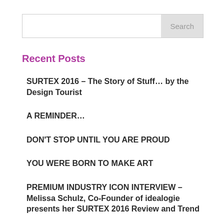Search
Recent Posts
SURTEX 2016 – The Story of Stuff… by the Design Tourist
A REMINDER…
DON'T STOP UNTIL YOU ARE PROUD
YOU WERE BORN TO MAKE ART
PREMIUM INDUSTRY ICON INTERVIEW – Melissa Schulz, Co-Founder of idealogie presents her SURTEX 2016 Review and Trend